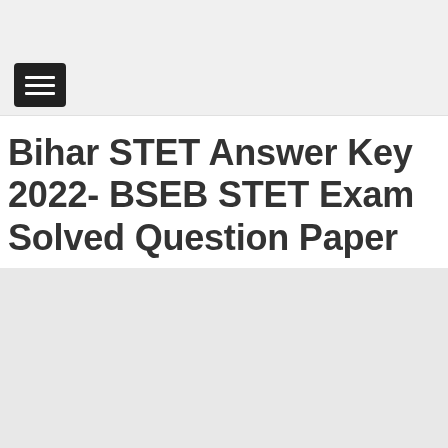[Figure (screenshot): Hamburger menu icon button — three white horizontal lines on a dark/black rounded rectangle background]
Bihar STET Answer Key 2022- BSEB STET Exam Solved Question Paper